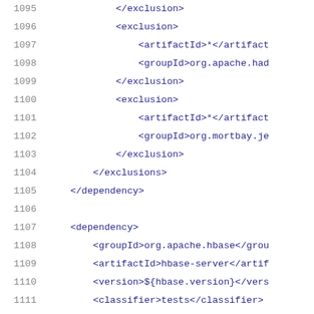1095    </exclusion>
1096        <exclusion>
1097            <artifactId>*</artifact...
1098            <groupId>org.apache.had...
1099        </exclusion>
1100        <exclusion>
1101            <artifactId>*</artifact...
1102            <groupId>org.mortbay.je...
1103        </exclusion>
1104    </exclusions>
1105    </dependency>
1106
1107    <dependency>
1108        <groupId>org.apache.hbase</grou...
1109        <artifactId>hbase-server</artif...
1110        <version>${hbase.version}</vers...
1111        <classifier>tests</classifier>
1112    </dependency>
1113
1114    <dependency>
1115        <groupId>org.apache.hbase</grou...
1116        <artifactId>hbase-server</artif...